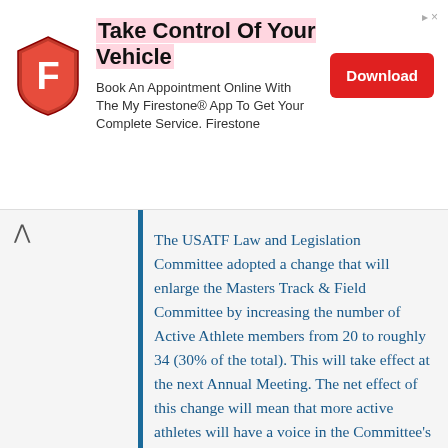[Figure (other): Advertisement banner for Firestone app. Shows Firestone shield logo, headline 'Take Control Of Your Vehicle', body text 'Book An Appointment Online With The My Firestone® App To Get Your Complete Service. Firestone', and a red Download button.]
The USATF Law and Legislation Committee adopted a change that will enlarge the Masters Track & Field Committee by increasing the number of Active Athlete members from 20 to roughly 34 (30% of the total). This will take effect at the next Annual Meeting. The net effect of this change will mean that more active athletes will have a voice in the Committee's business at future annual meetings. In practice, there have rarely, if ever, been more active athletes in attendance, so this may reduce the time-consuming process of selecting the active